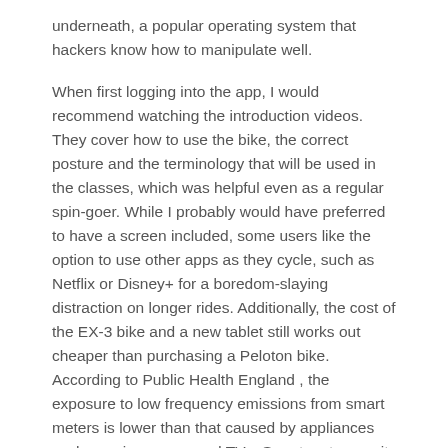underneath, a popular operating system that hackers know how to manipulate well.
When first logging into the app, I would recommend watching the introduction videos. They cover how to use the bike, the correct posture and the terminology that will be used in the classes, which was helpful even as a regular spin-goer. While I probably would have preferred to have a screen included, some users like the option to use other apps as they cycle, such as Netflix or Disney+ for a boredom-slaying distraction on longer rides. Additionally, the cost of the EX-3 bike and a new tablet still works out cheaper than purchasing a Peloton bike. According to Public Health England , the exposure to low frequency emissions from smart meters is lower than that caused by appliances such as microwaves and TVs. Smart meters emit low radio frequency emissions in much the same way as other wireless devices.